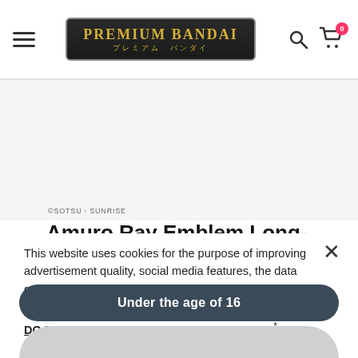PREMIUM BANDAI プレミアム バンダイ
[Figure (photo): Product image area for Amuro Ray Emblem Long-Sleeve T-shirt, white background]
©SOTSU・SUNRISE
Amuro Ray Emblem Long-Sleeve T-shirt—Mobile Suit Gundam:
This website uses cookies for the purpose of improving advertisement quality, social media features, the data gathered by web analytics, and your website experience. To customize your cookie settings, please click * DO NOT SELL MY PERSONAL INFORMATION*. Privacy Policy
Under the age of 16